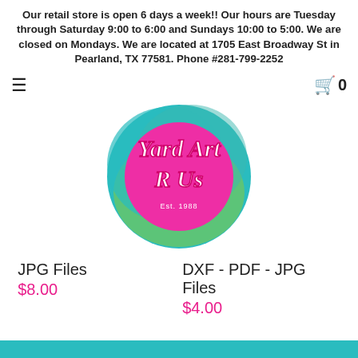Our retail store is open 6 days a week!! Our hours are Tuesday through Saturday 9:00 to 6:00 and Sundays 10:00 to 5:00. We are closed on Mondays. We are located at 1705 East Broadway St in Pearland, TX 77581. Phone #281-799-2252
[Figure (logo): Yard Art R Us logo — circular teal and green painted background with bright pink center and white/pink script text reading 'Yard Art R Us', Est. 1988]
JPG Files
$8.00
DXF - PDF - JPG Files
$4.00